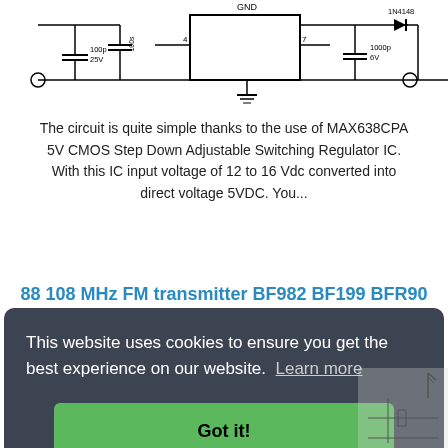[Figure (circuit-diagram): Top portion of an electronic circuit schematic showing capacitors, a GND label, components labeled 100p/25V, 1000p/6V, and 1N4148 diode, with connecting wires.]
The circuit is quite simple thanks to the use of MAX638CPA 5V CMOS Step Down Adjustable Switching Regulator IC. With this IC input voltage of 12 to 16 Vdc converted into direct voltage 5VDC. You...
88 108 MHz FM transmitter BF982 BF199 BFR90
This website uses cookies to ensure you get the best experience on our website. Learn more
Got it!
[Figure (circuit-diagram): Bottom right portion of an FM transmitter circuit schematic, partially visible.]